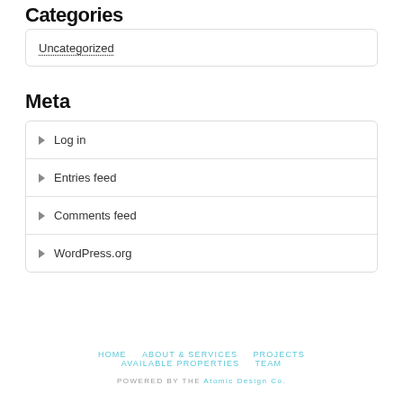Categories
Uncategorized
Meta
Log in
Entries feed
Comments feed
WordPress.org
HOME   ABOUT & SERVICES   PROJECTS   AVAILABLE PROPERTIES   TEAM
POWERED BY THE Atomic Design Co.